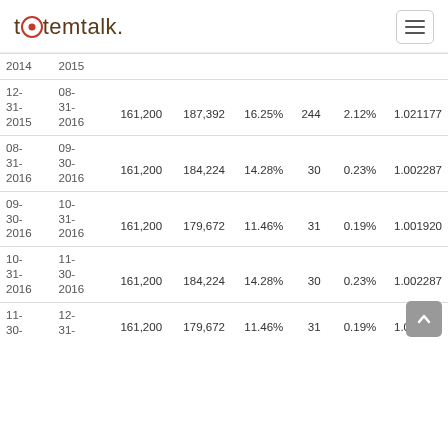tetemtalk.
| Start Date | End Date | Face Value | Market Value | Return% | Days | Daily% | Factor |
| --- | --- | --- | --- | --- | --- | --- | --- |
| 12-31-2015 | 08-31-2016 | 161,200 | 187,392 | 16.25% | 244 | 2.12% | 1.021177 |
| 08-31-2016 | 09-30-2016 | 161,200 | 184,224 | 14.28% | 30 | 0.23% | 1.002287 |
| 09-30-2016 | 10-31-2016 | 161,200 | 179,672 | 11.46% | 31 | 0.19% | 1.001920 |
| 10-31-2016 | 11-30-2016 | 161,200 | 184,224 | 14.28% | 30 | 0.23% | 1.002287 |
| 11-30-2016 | 12-31-2016 | 161,200 | 179,672 | 11.46% | 31 | 0.19% | 1.001920 |